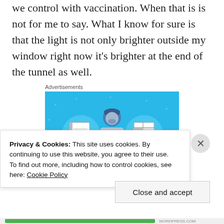we control with vaccination. When that is is not for me to say. What I know for sure is that the light is not only brighter outside my window right now it's brighter at the end of the tunnel as well.
Advertisements
[Figure (illustration): Day One app advertisement with blue background showing a person holding a phone flanked by a notebook and a document/spreadsheet, with text DAY ONE at the bottom.]
Privacy & Cookies: This site uses cookies. By continuing to use this website, you agree to their use.
To find out more, including how to control cookies, see here: Cookie Policy
Close and accept